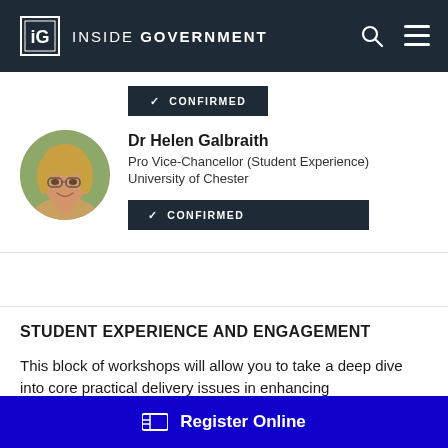INSIDE GOVERNMENT
[Figure (photo): Circular portrait photo of Dr Helen Galbraith, a woman with blonde hair and glasses, smiling, with an outdoor background.]
Dr Helen Galbraith
Pro Vice-Chancellor (Student Experience)
University of Chester
✓ CONFIRMED
STUDENT EXPERIENCE AND ENGAGEMENT
This block of workshops will allow you to take a deep dive into core practical delivery issues in enhancing
Register Online